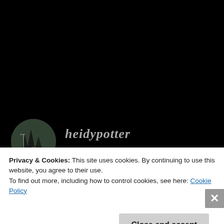[Figure (photo): Circular avatar photo showing a person outdoors with dark trees/building in background]
heidypotter
JULY 23, 2017 AT 6:28 PM
So excited!!
★ Liked by 1 person
Privacy & Cookies: This site uses cookies. By continuing to use this website, you agree to their use.
To find out more, including how to control cookies, see here: Cookie Policy
Close and accept